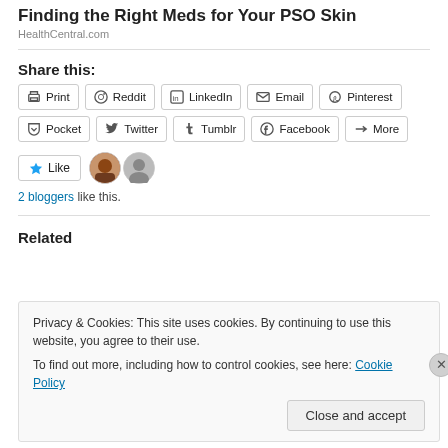Finding the Right Meds for Your PSO Skin
HealthCentral.com
Share this:
Print | Reddit | LinkedIn | Email | Pinterest | Pocket | Twitter | Tumblr | Facebook | More
Like
2 bloggers like this.
Related
Privacy & Cookies: This site uses cookies. By continuing to use this website, you agree to their use.
To find out more, including how to control cookies, see here: Cookie Policy
Close and accept